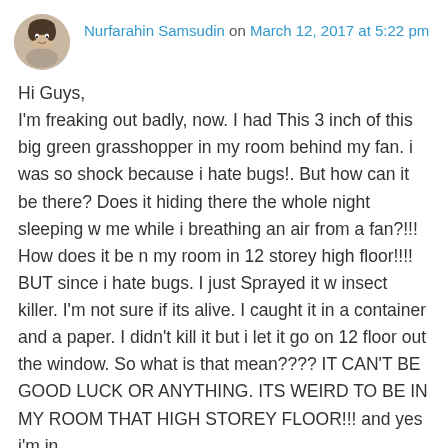Nurfarahin Samsudin on March 12, 2017 at 5:22 pm
Hi Guys,
I'm freaking out badly, now. I had This 3 inch of this big green grasshopper in my room behind my fan. i was so shock because i hate bugs!. But how can it be there? Does it hiding there the whole night sleeping w me while i breathing an air from a fan?!!! How does it be n my room in 12 storey high floor!!!!
BUT since i hate bugs. I just Sprayed it w insect killer. I'm not sure if its alive. I caught it in a container and a paper. I didn't kill it but i let it go on 12 floor out the window. So what is that mean???? IT CAN'T BE GOOD LUCK OR ANYTHING. ITS WEIRD TO BE IN MY ROOM THAT HIGH STOREY FLOOR!!! and yes i'm in